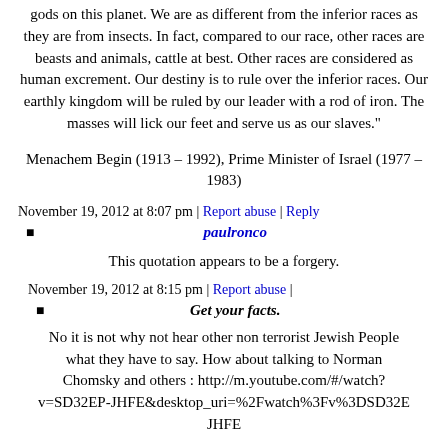gods on this planet. We are as different from the inferior races as they are from insects. In fact, compared to our race, other races are beasts and animals, cattle at best. Other races are considered as human excrement. Our destiny is to rule over the inferior races. Our earthly kingdom will be ruled by our leader with a rod of iron. The masses will lick our feet and serve us as our slaves."
Menachem Begin (1913 – 1992), Prime Minister of Israel (1977 – 1983)
November 19, 2012 at 8:07 pm | Report abuse | Reply
paulronco
This quotation appears to be a forgery.
November 19, 2012 at 8:15 pm | Report abuse |
Get your facts.
No it is not why not hear other non terrorist Jewish People what they have to say. How about talking to Norman Chomsky and others : http://m.youtube.com/#/watch?v=SD32EP-JHFE&desktop_uri=%2Fwatch%3Fv%3DSD32E JHFE